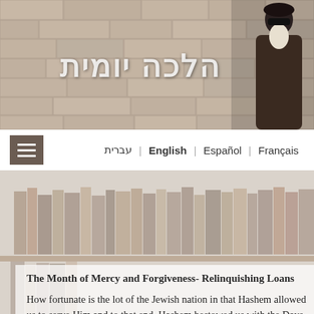[Figure (photo): Website header banner showing a stone wall background (Western Wall) with Hebrew text 'הלכה יומית' and a rabbi figure on the right side]
עברית | English | Español | Français
8 Halachot Most Popular
The Month of Mercy and Forgiveness- Relinquishing Loans
How fortunate is the lot of the Jewish nation in that Hashem allowed us to serve Him and to that end, Hashem bestowed us with the Days of Awe, holy and lofty days which we are just about to commence. These days help us perfect the most